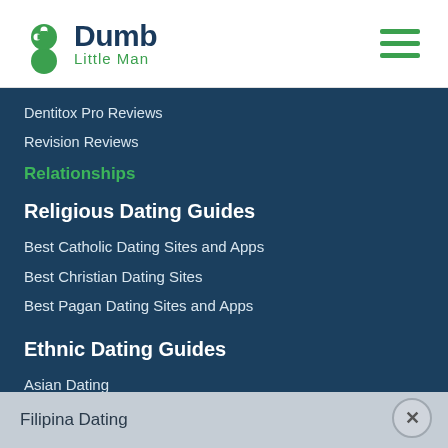Dumb Little Man
Dentitox Pro Reviews
Revision Reviews
Relationships
Religious Dating Guides
Best Catholic Dating Sites and Apps
Best Christian Dating Sites
Best Pagan Dating Sites and Apps
Ethnic Dating Guides
Asian Dating
Japanese Dating
Filipina Dating
Indian Dating